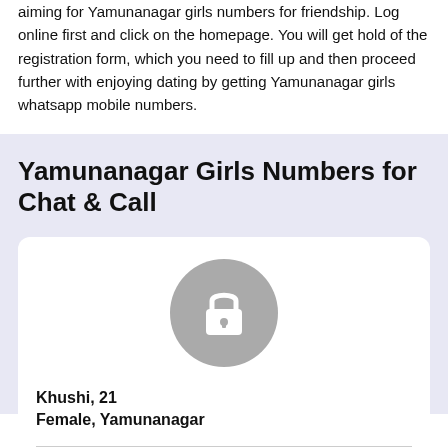aiming for Yamunanagar girls numbers for friendship. Log online first and click on the homepage. You will get hold of the registration form, which you need to fill up and then proceed further with enjoying dating by getting Yamunanagar girls whatsapp mobile numbers.
Yamunanagar Girls Numbers for Chat & Call
[Figure (illustration): Circular grey avatar placeholder with a white lock icon in the center, representing a locked/private profile photo.]
Khushi, 21
Female, Yamunanagar